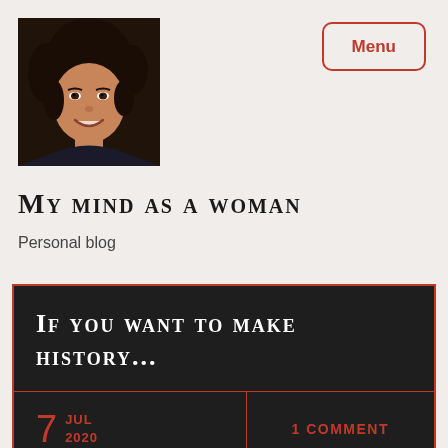[Figure (photo): Profile photo of a woman with dark curly hair, smiling, dark background]
My mind as a woman
Personal blog
If you want to make history...
7 JUL 2020
1 COMMENT
I was bobbing my head to Taylor Swift's "The Man" and